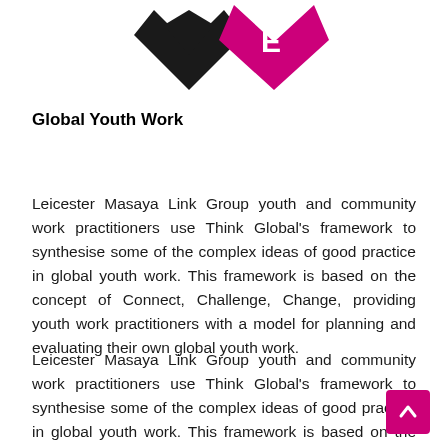[Figure (logo): Partial logo graphic at top of page — black and magenta/pink geometric shapes resembling a logo mark, cropped at top]
Global Youth Work
Leicester Masaya Link Group youth and community work practitioners use Think Global’s framework to synthesise some of the complex ideas of good practice in global youth work. This framework is based on the concept of Connect, Challenge, Change, providing youth work practitioners with a model for planning and evaluating their own global youth work.
Leicester Masaya Link Group youth and community work practitioners use Think Global’s framework to synthesise some of the complex ideas of good practice in global youth work. This framework is based on the concept of Connect, Challenge, Change, providing youth work practitioners with a model for planning and evaluating